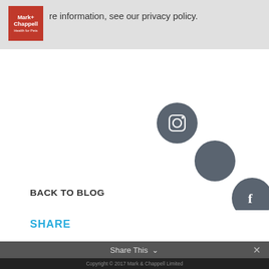re information, see our privacy policy.
[Figure (logo): Mark+Chappell Health for Pets red logo]
[Figure (infographic): Three diagonal social media icon circles: Instagram (top-left), Twitter (middle), Facebook (bottom-right), all in dark grey]
BACK TO BLOG
SHARE
Share This ∨  ✕
Copyright © 2017 Mark & Chappell Limited